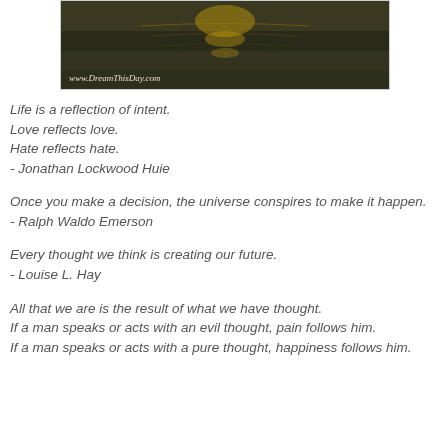[Figure (photo): Dark water reflection photo with golden light shimmer, website watermark 'www.DreamThisDay.com' in lower left corner]
Life is a reflection of intent.
Love reflects love.
Hate reflects hate.
- Jonathan Lockwood Huie
Once you make a decision, the universe conspires to make it happen.
- Ralph Waldo Emerson
Every thought we think is creating our future.
- Louise L. Hay
All that we are is the result of what we have thought.
If a man speaks or acts with an evil thought, pain follows him.
If a man speaks or acts with a pure thought, happiness follows him.